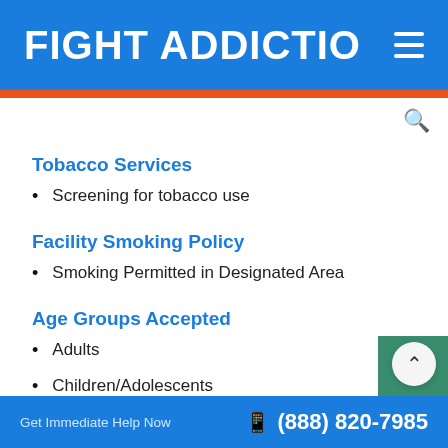FIGHT ADDICTIO
Tobacco Services
Screening for tobacco use
Facility Smoking Policy
Smoking Permitted in Designated Area
Age Groups Accepted
Adults
Children/Adolescents
Get Immediate Help Now  (888) 820-7985